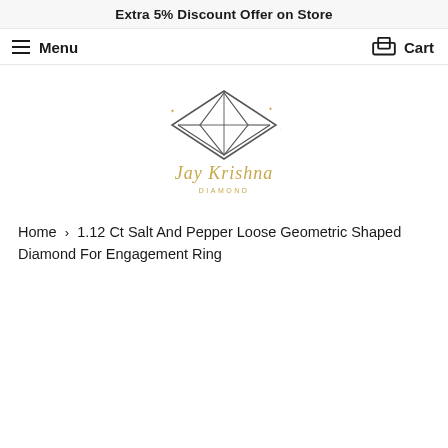Extra 5% Discount Offer on Store
Menu   Cart
[Figure (logo): Jay Krishna Diamond logo — geometric diamond outline in gray/black with gold cursive script signature below]
Home › 1.12 Ct Salt And Pepper Loose Geometric Shaped Diamond For Engagement Ring